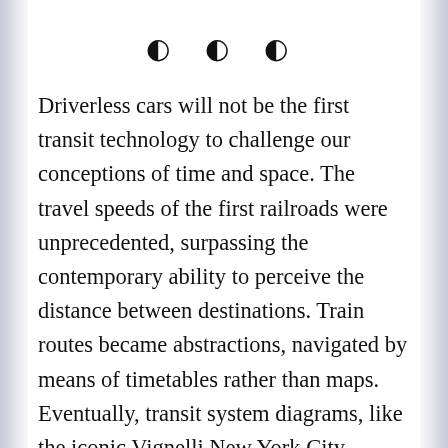[Figure (other): Three decorative bullet/ornament symbols centered on the page]
Driverless cars will not be the first transit technology to challenge our conceptions of time and space. The travel speeds of the first railroads were unprecedented, surpassing the contemporary ability to perceive the distance between destinations. Train routes became abstractions, navigated by means of timetables rather than maps. Eventually, transit system diagrams, like the iconic Vignelli New York City subway map, eliminated realistic representations of geography. Mass-market novels grew in popularity as a way for riders to pass the time